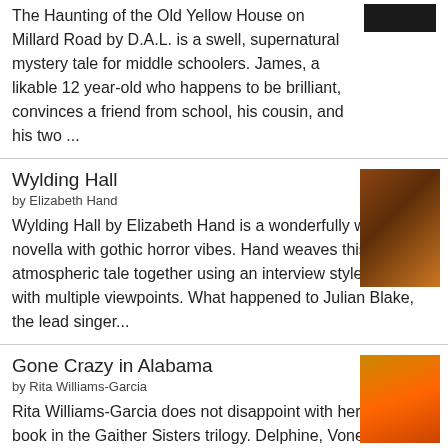The Haunting of the Old Yellow House on Millard Road by D.A.L. is a swell, supernatural mystery tale for middle schoolers. James, a likable 12 year-old who happens to be brilliant, convinces a friend from school, his cousin, and his two ...
[Figure (photo): Book cover for The Haunting of the Old Yellow House on Millard Road]
Wylding Hall
by Elizabeth Hand
Wylding Hall by Elizabeth Hand is a wonderfully written novella with gothic horror vibes. Hand weaves this atmospheric tale together using an interview style format with multiple viewpoints. What happened to Julian Blake, the lead singer...
[Figure (photo): Book cover for Wylding Hall by Elizabeth Hand]
Gone Crazy in Alabama
by Rita Williams-Garcia
Rita Williams-Garcia does not disappoint with her final book in the Gaither Sisters trilogy. Delphine, Vonetta, and Fern travel from Brooklyn to Alabama to visit Big Ma and Uncle Darnell for the summer. They learn about country living, u...
[Figure (photo): Book cover for Gone Crazy in Alabama by Rita Williams-Garcia]
P.S. Be Eleven
by Rita Williams-Garcia
P.S. Be Eleven by Rita Williams-Garcia is another beautifully
[Figure (photo): Book cover for P.S. Be Eleven by Rita Williams-Garcia]